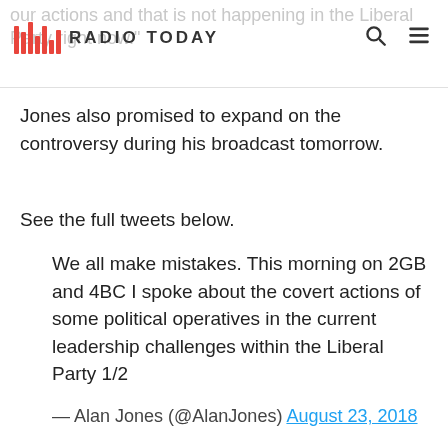Radio Today
Jones also promised to expand on the controversy during his broadcast tomorrow.
See the full tweets below.
We all make mistakes. This morning on 2GB and 4BC I spoke about the covert actions of some political operatives in the current leadership challenges within the Liberal Party 1/2
— Alan Jones (@AlanJones) August 23, 2018